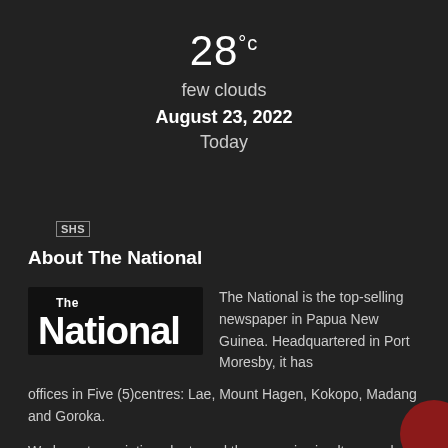28°c
few clouds
August 23, 2022
Today
SHS
About The National
[Figure (logo): The National newspaper logo — bold white text on dark background]
The National is the top-selling newspaper in Papua New Guinea. Headquartered in Port Moresby, it has offices in Five (5)centres: Lae, Mount Hagen, Kokopo, Madang and Goroka.
We have two printing plants and the paper is simultaneously printed in the capital city of Port Moresby and the industrial city of Lae.